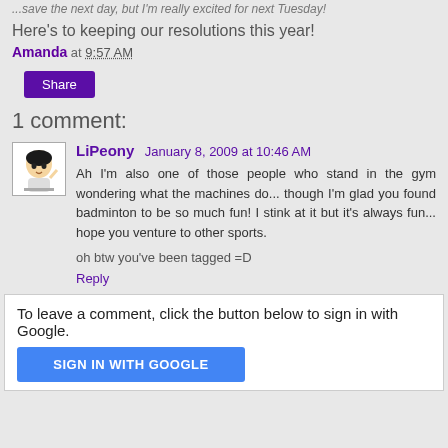...save the next day, but I'm really excited for next Tuesday!
Here's to keeping our resolutions this year!
Amanda at 9:57 AM
Share
1 comment:
LiPeony January 8, 2009 at 10:46 AM
Ah I'm also one of those people who stand in the gym wondering what the machines do... though I'm glad you found badminton to be so much fun! I stink at it but it's always fun... hope you venture to other sports.
oh btw you've been tagged =D
Reply
To leave a comment, click the button below to sign in with Google.
SIGN IN WITH GOOGLE